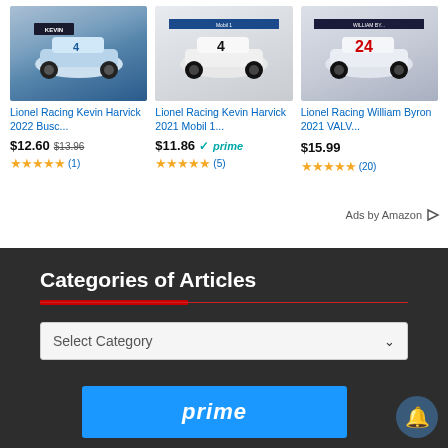[Figure (screenshot): Product card for Lionel Racing Kevin Harvick 2022 Busc... showing a light blue NASCAR die-cast car]
Lionel Racing Kevin Harvick 2022 Busc...
$12.60 $13.96
★★★★★ (1)
[Figure (screenshot): Product card for Lionel Racing Kevin Harvick 2021 Mobil 1... showing a white NASCAR die-cast car with number 4]
Lionel Racing Kevin Harvick 2021 Mobil 1...
$11.86 prime
★★★★★ (5)
[Figure (screenshot): Product card for Lionel Racing William Byron 2021 VALV... showing a white/navy NASCAR die-cast car with number 24]
Lionel Racing William Byron 2021 VALV...
$15.99
★★★★★ (20)
Ads by Amazon
Categories of Articles
Select Category
[Figure (screenshot): Blue prime banner at bottom]